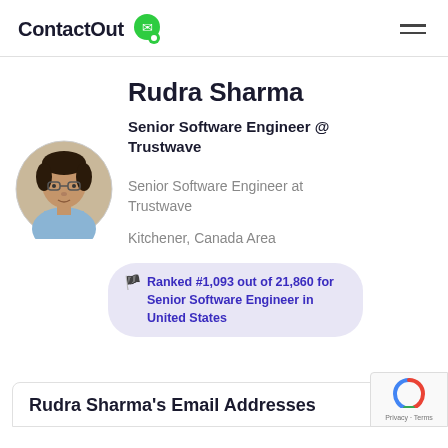ContactOut
Rudra Sharma
Senior Software Engineer @ Trustwave
Senior Software Engineer at Trustwave
Kitchener, Canada Area
[Figure (photo): Profile photo of Rudra Sharma]
Ranked #1,093 out of 21,860 for Senior Software Engineer in United States
Rudra Sharma's Email Addresses